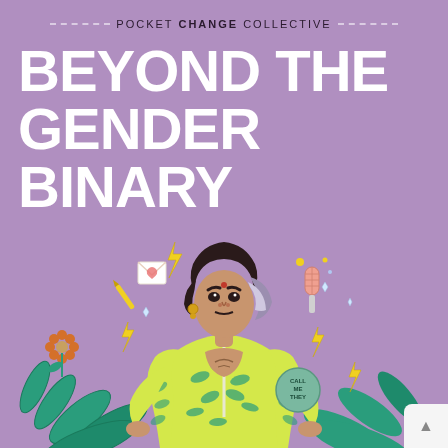POCKET CHANGE COLLECTIVE
BEYOND THE GENDER BINARY
[Figure (illustration): Illustrated figure of a person with long curly hair wearing a yellow and teal tropical leaf-print jacket, surrounded by decorative elements: lightning bolts, a microphone, a flower, a heart, leaves, and a badge reading 'call me they'. Purple background throughout.]